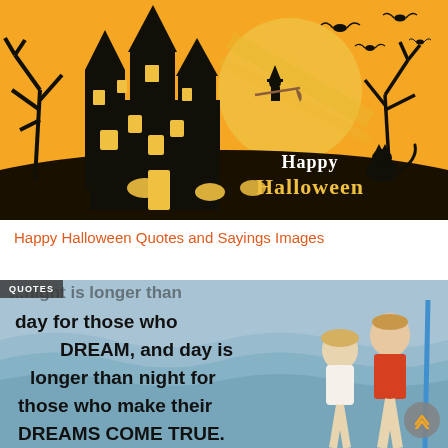[Figure (illustration): Halloween illustration showing a spooky haunted house with black silhouette, bare trees, bats flying, a witch on broomstick, a cat on a hill, glowing eyes in the foreground, large full moon in orange sky, and 'Happy Halloween' text in yellow/white stylized font on a black ground area.]
Happy Halloween Quotes and Sayings Images
[Figure (photo): Photo of two children (a girl and a boy) near water with overlaid bold black text reading: '...night is longer than day for those who DREAM, and day is longer than night for those who make their DREAMS COME TRUE.' A 'QUOTES' badge appears in the upper left. A scroll-up button appears in the lower right.]